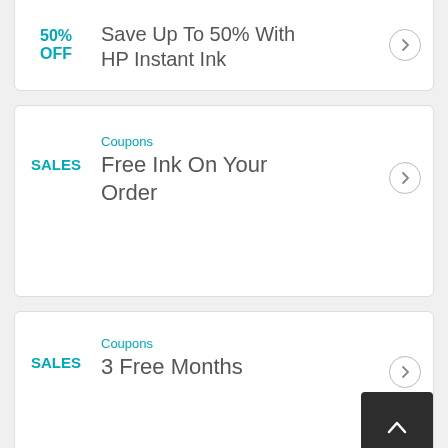50% OFF — Save Up To 50% With HP Instant Ink
Coupons — SALES — Free Ink On Your Order
Coupons — SALES — 3 Free Months
Coupons — SALES